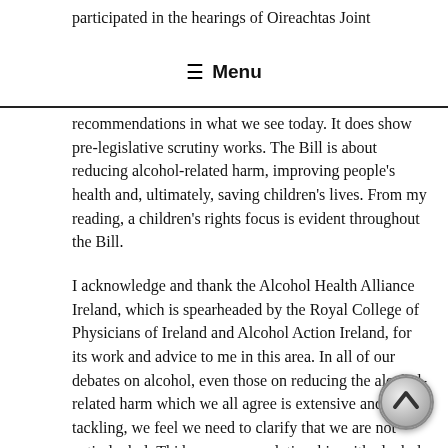participated in the hearings of Oireachtas Joint
≡ Menu
recommendations in what we see today. It does show pre-legislative scrutiny works. The Bill is about reducing alcohol-related harm, improving people's health and, ultimately, saving children's lives. From my reading, a children's rights focus is evident throughout the Bill.
I acknowledge and thank the Alcohol Health Alliance Ireland, which is spearheaded by the Royal College of Physicians of Ireland and Alcohol Action Ireland, for its work and advice to me in this area. In all of our debates on alcohol, even those on reducing the alcohol-related harm which we all agree is extensive and needs tackling, we feel we need to clarify that we are not anti-alcohol. This because our relationship with alcohol is so twisted into